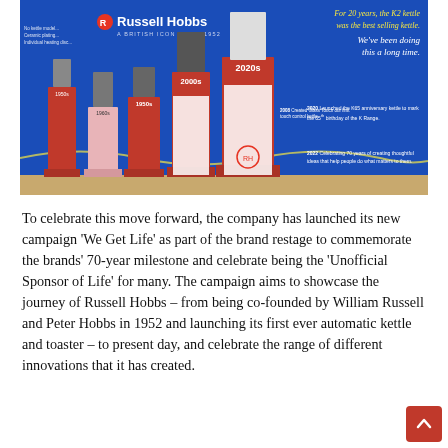[Figure (photo): A Russell Hobbs branded exhibition display with blue background showing the brand's history across decades (1950s, 1960s, 2000s, 2020s) with product pedestals featuring kettles and appliances on a wooden floor. Text includes 'Russell Hobbs - A British Icon Since 1952', 'For 20 years, the K2 kettle was the best selling kettle.', 'We've been doing this a long time.' and milestone notes for 2020 and 2022.]
To celebrate this move forward, the company has launched its new campaign 'We Get Life' as part of the brand restage to commemorate the brands' 70-year milestone and celebrate being the 'Unofficial Sponsor of Life' for many. The campaign aims to showcase the journey of Russell Hobbs – from being co-founded by William Russell and Peter Hobbs in 1952 and launching its first ever automatic kettle and toaster – to present day, and celebrate the range of different innovations that it has created.